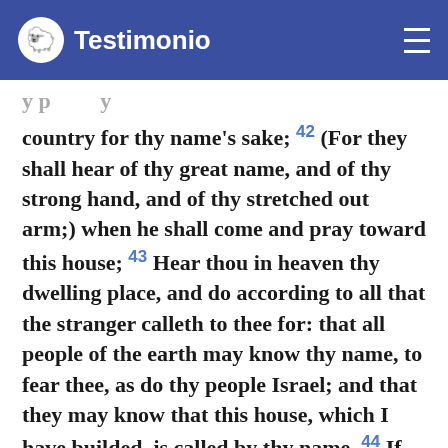Testimonio
y p ... y ... (partial/clipped line)
country for thy name's sake; 42 (For they shall hear of thy great name, and of thy strong hand, and of thy stretched out arm;) when he shall come and pray toward this house; 43 Hear thou in heaven thy dwelling place, and do according to all that the stranger calleth to thee for: that all people of the earth may know thy name, to fear thee, as do thy people Israel; and that they may know that this house, which I have builded, is called by thy name. 44 If thy people go out to battle against their enemy,